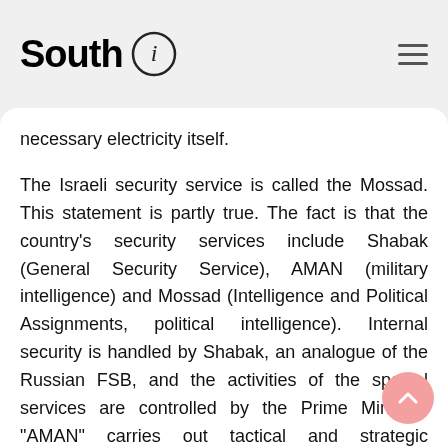South i
necessary electricity itself.
The Israeli security service is called the Mossad. This statement is partly true. The fact is that the country's security services include Shabak (General Security Service), AMAN (military intelligence) and Mossad (Intelligence and Political Assignments, political intelligence). Internal security is handled by Shabak, an analogue of the Russian FSB, and the activities of the special services are controlled by the Prime Minister. "AMAN" carries out tactical and strategic intelligence, guards codes and ciphers, analyzes information about the Arab world. This special service is independent